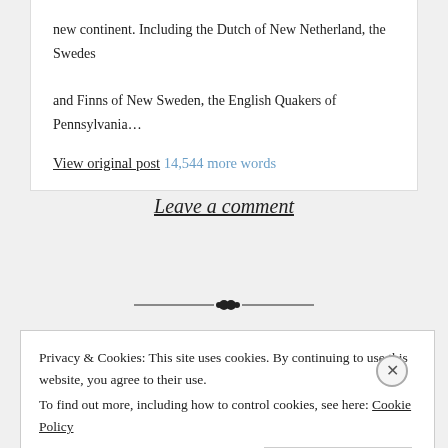new continent. Including the Dutch of New Netherland, the Swedes and Finns of New Sweden, the English Quakers of Pennsylvania…
View original post 14,544 more words
Leave a comment
[Figure (illustration): Decorative horizontal divider with ornamental dots in the center]
Privacy & Cookies: This site uses cookies. By continuing to use this website, you agree to their use. To find out more, including how to control cookies, see here: Cookie Policy
Close and accept